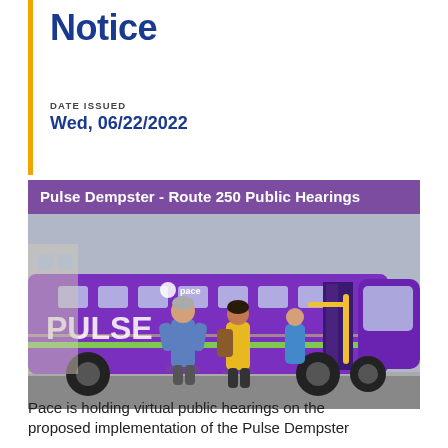Notice
DATE ISSUED
Wed, 06/22/2022
[Figure (photo): Purple Pace PULSE bus at a station with passengers boarding, with text overlay 'Pulse Dempster - Route 250 Public Hearings']
Pace is holding virtual public hearings on the proposed implementation of the Pulse Dempster